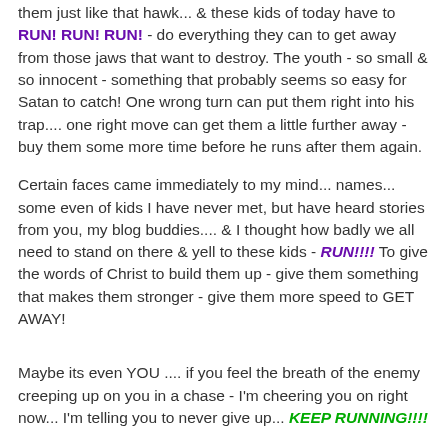them just like that hawk... & these kids of today have to RUN! RUN! RUN! - do everything they can to get away from those jaws that want to destroy. The youth - so small & so innocent - something that probably seems so easy for Satan to catch! One wrong turn can put them right into his trap.... one right move can get them a little further away - buy them some more time before he runs after them again.
Certain faces came immediately to my mind... names... some even of kids I have never met, but have heard stories from you, my blog buddies.... & I thought how badly we all need to stand on there & yell to these kids - RUN!!!! To give the words of Christ to build them up - give them something that makes them stronger - give them more speed to GET AWAY!
Maybe its even YOU .... if you feel the breath of the enemy creeping up on you in a chase - I'm cheering you on right now... I'm telling you to never give up... KEEP RUNNING!!!!
[Figure (illustration): Cursive signature reading 'Rebecca Jo']